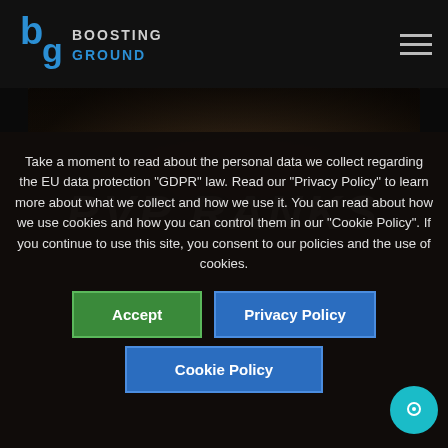Boosting Ground logo and navigation
[Figure (screenshot): PVP Ranks hero banner image with dark stylized background and bold italic text 'PVP RANKS']
Take a moment to read about the personal data we collect regarding the EU data protection "GDPR" law. Read our "Privacy Policy" to learn more about what we collect and how we use it. You can read about how we use cookies and how you can control them in our "Cookie Policy". If you continue to use this site, you consent to our policies and the use of cookies.
Accept
Privacy Policy
Cookie Policy